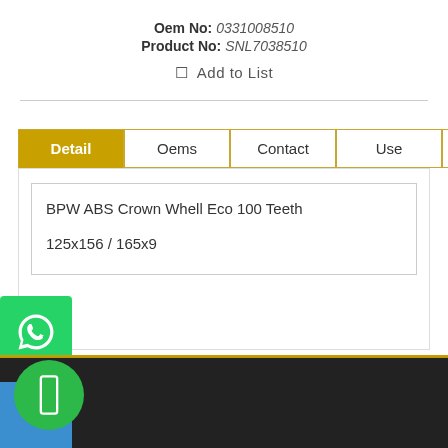Oem No: 0331008510
Product No: SNL7038510
☐  Add to List
Detail | Oems | Contact | Use | Tags
BPW ABS Crown Whell Eco 100 Teeth

125x156 / 165x9